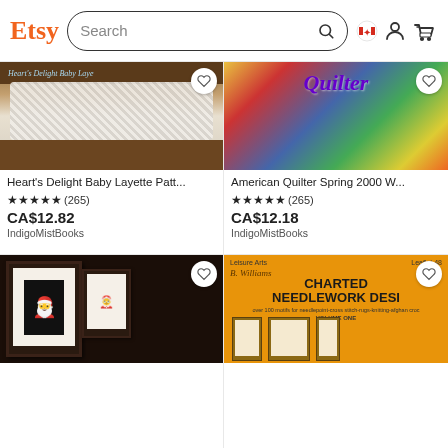Etsy — Search bar with Search icon, Canada flag, user icon, cart icon
[Figure (photo): White crocheted baby layette draped over a wooden dresser with a stuffed duck toy]
Heart's Delight Baby Layette Patt...
★★★★★ (265)
CA$12.82
IndigoMistBooks
[Figure (photo): American Quilter magazine Spring 2000 cover with colorful quilt artwork and purple Quilter script title]
American Quilter Spring 2000 W...
★★★★★ (265)
CA$12.18
IndigoMistBooks
[Figure (photo): Two framed cross-stitch Santa Claus pieces in dark frames on a holiday display]
[Figure (photo): B. Williams Charted Needlework Designs Volume One book cover with orange background and needlepoint samples]